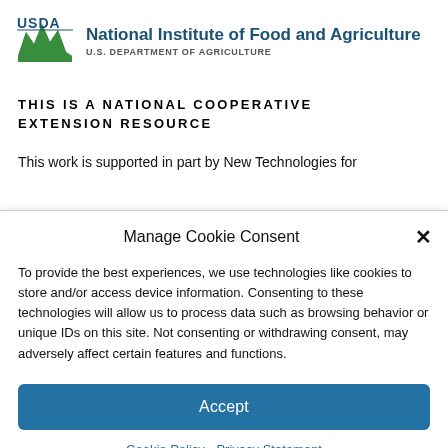[Figure (logo): USDA logo with green field/mountain graphic and blue 'USDA' text, alongside 'National Institute of Food and Agriculture' heading and 'U.S. DEPARTMENT OF AGRICULTURE' subheading]
THIS IS A NATIONAL COOPERATIVE EXTENSION RESOURCE
This work is supported in part by New Technologies for
Manage Cookie Consent
To provide the best experiences, we use technologies like cookies to store and/or access device information. Consenting to these technologies will allow us to process data such as browsing behavior or unique IDs on this site. Not consenting or withdrawing consent, may adversely affect certain features and functions.
Accept
Cookie Policy  Privacy Statement